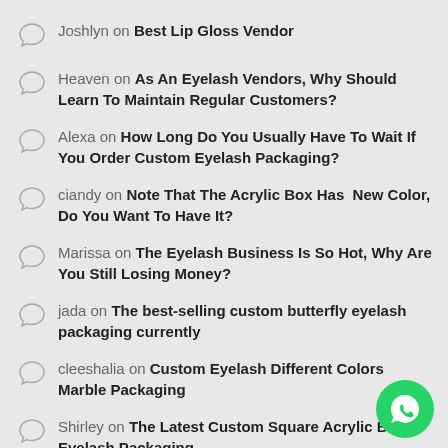Joshlyn on Best Lip Gloss Vendor
Heaven on As An Eyelash Vendors, Why Should Learn To Maintain Regular Customers?
Alexa on How Long Do You Usually Have To Wait If You Order Custom Eyelash Packaging?
ciandy on Note That The Acrylic Box Has  New Color, Do You Want To Have It?
Marissa on The Eyelash Business Is So Hot, Why Are You Still Losing Money?
jada on The best-selling custom butterfly eyelash packaging currently
cleeshalia on Custom Eyelash Different Colors Marble Packaging
Shirley on The Latest Custom Square Acrylic Box Eyelash Packaging